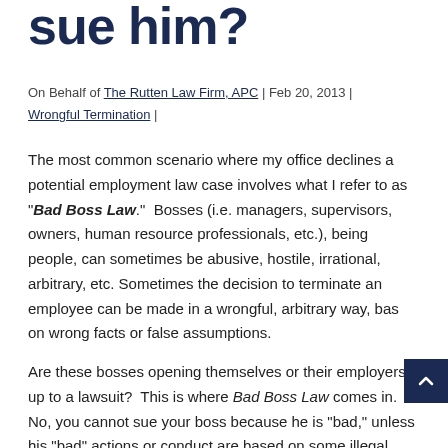sue him?
On Behalf of The Rutten Law Firm, APC | Feb 20, 2013 | Wrongful Termination |
The most common scenario where my office declines a potential employment law case involves what I refer to as “Bad Boss Law.”  Bosses (i.e. managers, supervisors, owners, human resource professionals, etc.), being people, can sometimes be abusive, hostile, irrational, arbitrary, etc. Sometimes the decision to terminate an employee can be made in a wrongful, arbitrary way, based on wrong facts or false assumptions.
Are these bosses opening themselves or their employers up to a lawsuit?  This is where Bad Boss Law comes in.  No, you cannot sue your boss because he is “bad,” unless his “bad” actions or conduct are based on some illegal reason